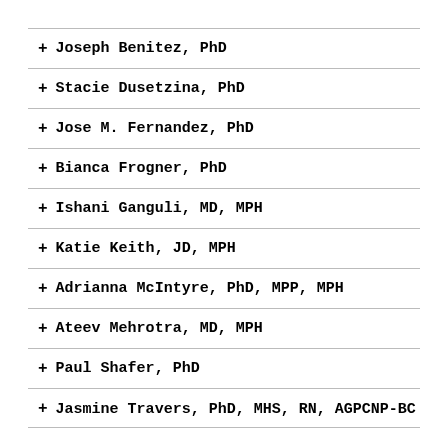+ Joseph Benitez, PhD
+ Stacie Dusetzina, PhD
+ Jose M. Fernandez, PhD
+ Bianca Frogner, PhD
+ Ishani Ganguli, MD, MPH
+ Katie Keith, JD, MPH
+ Adrianna McIntyre, PhD, MPP, MPH
+ Ateev Mehrotra, MD, MPH
+ Paul Shafer, PhD
+ Jasmine Travers, PhD, MHS, RN, AGPCNP-BC